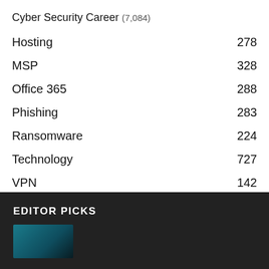Cyber Security Career (7,084)
Hosting   278
MSP   328
Office 365   288
Phishing   283
Ransomware   224
Technology   727
VPN   142
EDITOR PICKS